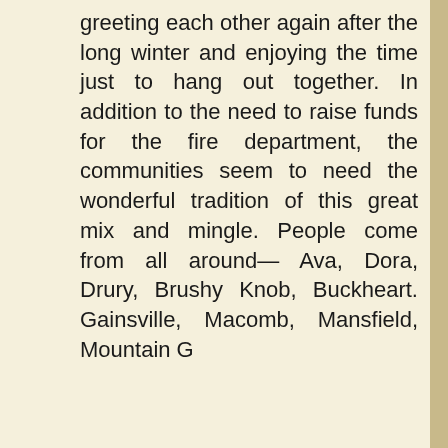greeting each other again after the long winter and enjoying the time just to hang out together. In addition to the need to raise funds for the fire department, the communities seem to need the wonderful tradition of this great mix and mingle. People come from all around— Ava, Dora, Drury, Brushy Knob, Buckheart. Gainsville, Macomb, Mansfield, Mountain G...